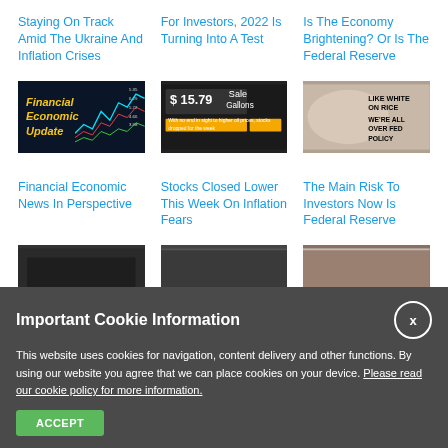Staying On Track Amid The Ukraine And Inflation Crises
For Investors, 2022 Is Turning Into A Test
Is The Economy Brightening? Or Is The Federal Reserve
[Figure (screenshot): Dark background with yellow text 'Financial Economic Update' and colorful stock chart lines]
[Figure (photo): Gas station price sign showing $15.79 Sale Gallons with text 'With no end in sight to higher oil prices, stocks dropped for the week']
[Figure (photo): Image with text 'LIKE WHITE ON RICE WE'RE ALL OVER FED POLICY' on light background]
Financial Economic News In Perspective
Stocks Closed Lower This Week On Inflation Fears
The Main Risk To Investors Now Is Federal Reserve
[Figure (screenshot): Dark thumbnail image]
[Figure (screenshot): Dark thumbnail image]
[Figure (photo): Brownish thumbnail image]
Important Cookie Information
This website uses cookies for navigation, content delivery and other functions. By using our website you agree that we can place cookies on your device. Please read our cookie policy for more information.
ACCEPT